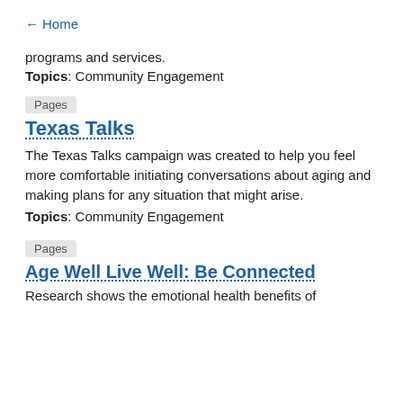← Home
programs and services.
Topics: Community Engagement
Pages
Texas Talks
The Texas Talks campaign was created to help you feel more comfortable initiating conversations about aging and making plans for any situation that might arise.
Topics: Community Engagement
Pages
Age Well Live Well: Be Connected
Research shows the emotional health benefits of